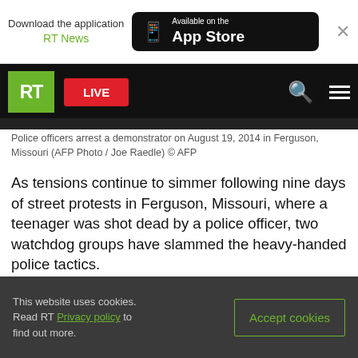[Figure (screenshot): App download banner: Download the application RT News, Available on the App Store button, close X]
[Figure (screenshot): RT News website navigation bar with RT logo (green), LIVE button (red), search icon, and hamburger menu on black background]
Police officers arrest a demonstrator on August 19, 2014 in Ferguson, Missouri (AFP Photo / Joe Raedle) © AFP
As tensions continue to simmer following nine days of street protests in Ferguson, Missouri, where a teenager was shot dead by a police officer, two watchdog groups have slammed the heavy-handed police tactics.
To compound the physical and mental strain of
This website uses cookies. Read RT Privacy policy to find out more.